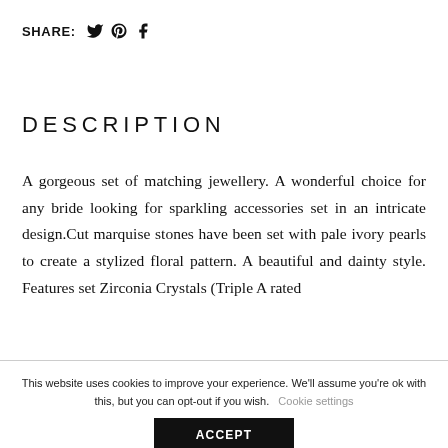SHARE: 🐦 𝒫 🅕
DESCRIPTION
A gorgeous set of matching jewellery. A wonderful choice for any bride looking for sparkling accessories set in an intricate design.Cut marquise stones have been set with pale ivory pearls to create a stylized floral pattern. A beautiful and dainty style. Features set Zirconia Crystals (Triple A rated
This website uses cookies to improve your experience. We'll assume you're ok with this, but you can opt-out if you wish.  Cookie settings  ACCEPT